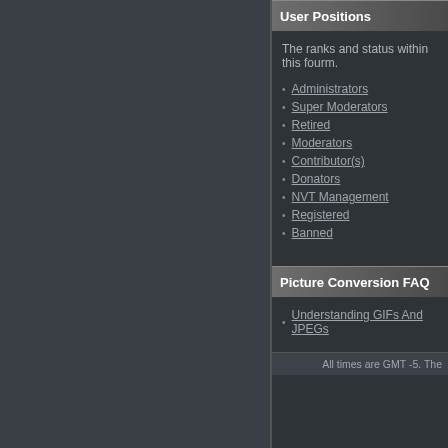User Positions
The ranks and status within this fourm.
Administrators
Super Moderators
Retired
Moderators
Contributor(s)
Donators
NVT Management
Registered
Banned
Picture Conversion FAQ
Understanding GIFs And JPEGs
All times are GMT -5. The
vBulletin style developed
Powered by: vBulle
Copyright ©2000 - 2022,
All content copyright ©2004 NeoH